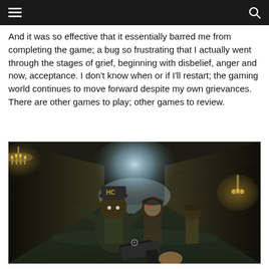And it was so effective that it essentially barred me from completing the game; a bug so frustrating that I actually went through the stages of grief, beginning with disbelief, anger and now, acceptance. I don't know when or if I'll restart; the gaming world continues to move forward despite my own grievances. There are other games to play; other games to review.
[Figure (screenshot): First-person shooter game screenshot showing a dark flooded hallway with ornate walls and chandeliers. Several enemy characters wearing dark outfits with clown-like features face the player. One enemy prominently displays 'HC' on their hat. The player's gun is visible at the bottom center of the screen. A bright light source illuminates the background of the corridor.]